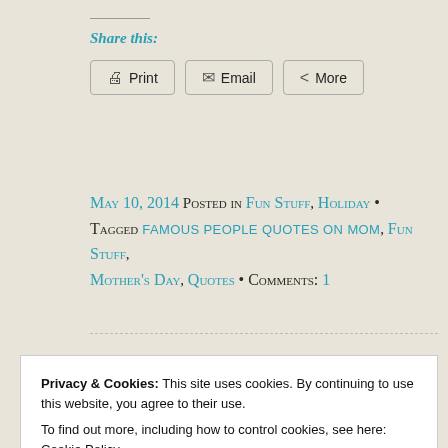Share this:
Print | Email | More
May 10, 2014 Posted in Fun Stuff, Holiday • Tagged famous people quotes on mom, Fun Stuff, Mother's Day, Quotes • Comments: 1
Privacy & Cookies: This site uses cookies. By continuing to use this website, you agree to their use.
To find out more, including how to control cookies, see here: Cookie Policy
Close and accept